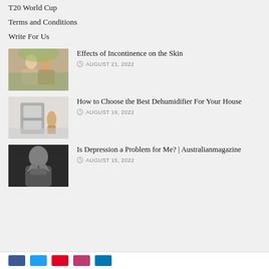T20 World Cup
Terms and Conditions
Write For Us
[Figure (photo): Two women talking outdoors]
Effects of Incontinence on the Skin
AUGUST 21, 2022
[Figure (photo): Person near a dehumidifier appliance]
How to Choose the Best Dehumidifier For Your House
AUGUST 16, 2022
[Figure (photo): Young man looking distressed with hands on his head]
Is Depression a Problem for Me? | Australianmagazine
AUGUST 15, 2022
Social media links: Facebook, Twitter, Pinterest, Mix, LinkedIn